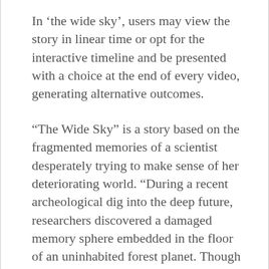In ‘the wide sky’, users may view the story in linear time or opt for the interactive timeline and be presented with a choice at the end of every video, generating alternative outcomes.
“The Wide Sky” is a story based on the fragmented memories of a scientist desperately trying to make sense of her deteriorating world. “During a recent archeological dig into the deep future, researchers discovered a damaged memory sphere embedded in the floor of an uninhabited forest planet. Though much of the sphere was corrupted some of the data was retrievable. This Archive documents the artifacts that were recovered.” To log